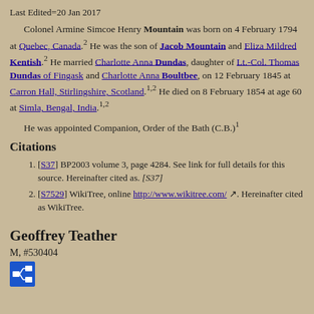Last Edited=20 Jan 2017
Colonel Armine Simcoe Henry Mountain was born on 4 February 1794 at Quebec, Canada.2 He was the son of Jacob Mountain and Eliza Mildred Kentish.2 He married Charlotte Anna Dundas, daughter of Lt.-Col. Thomas Dundas of Fingask and Charlotte Anna Boultbee, on 12 February 1845 at Carron Hall, Stirlingshire, Scotland.1,2 He died on 8 February 1854 at age 60 at Simla, Bengal, India.1,2
He was appointed Companion, Order of the Bath (C.B.)1
Citations
[S37] BP2003 volume 3, page 4284. See link for full details for this source. Hereinafter cited as. [S37]
[S7529] WikiTree, online http://www.wikitree.com/. Hereinafter cited as WikiTree.
Geoffrey Teather
M, #530404
[Figure (other): Blue pedigree/family tree icon button]